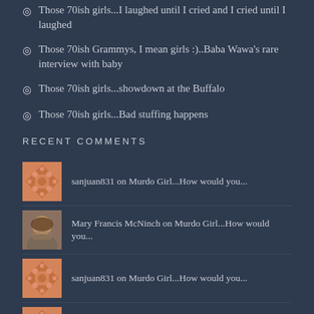Those 70ish girls...I laughed until I cried and I cried until I laughed
Those 70ish Grammys, I mean girls :)..Baba Wawa's rare interview with baby
Those 70ish girls...showdown at the Buffalo
Those 70ish girls...Bad stuffing happens
RECENT COMMENTS
sanjuan831 on Murdo Girl...How would you...
Mary Francis McNinch on Murdo Girl...How would you...
sanjuan831 on Murdo Girl...How would you...
sanjuan831 on Those 70ish girls...I laug...
lifelaessons on Those 70ish girls...I laug...